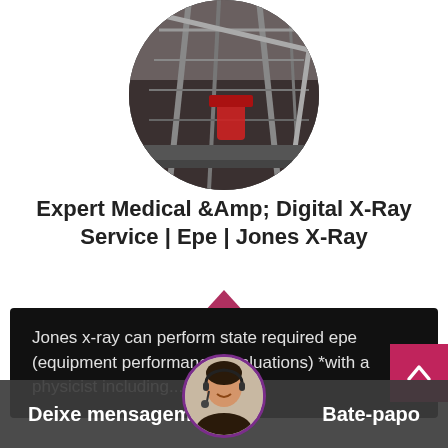[Figure (photo): Circular cropped photo of industrial/mining equipment machinery with steel structures, shown from below against a dark background.]
Expert Medical &Amp; Digital X-Ray Service | Epe | Jones X-Ray
Jones x-ray can perform state required epe (equipment performance evaluations) *with a physicist including...
[Figure (photo): Circular cropped photo of a female customer service agent wearing a headset, smiling.]
Deixe mensagem
Bate-papo